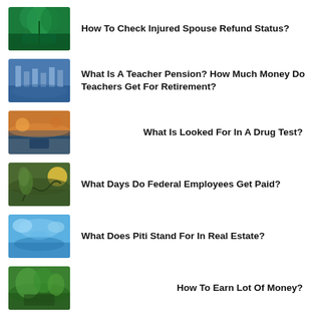How To Check Injured Spouse Refund Status?
What Is A Teacher Pension? How Much Money Do Teachers Get For Retirement?
What Is Looked For In A Drug Test?
What Days Do Federal Employees Get Paid?
What Does Piti Stand For In Real Estate?
How To Earn Lot Of Money?